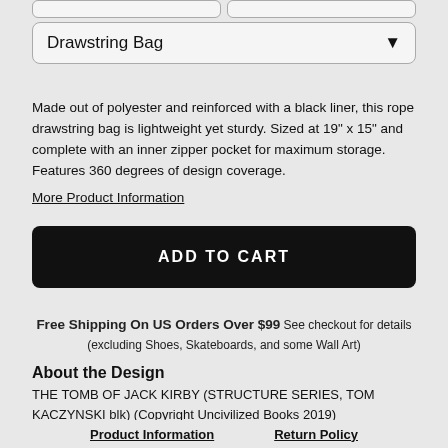Drawstring Bag
Made out of polyester and reinforced with a black liner, this rope drawstring bag is lightweight yet sturdy. Sized at 19" x 15" and complete with an inner zipper pocket for maximum storage. Features 360 degrees of design coverage.
More Product Information
ADD TO CART
Free Shipping On US Orders Over $99 See checkout for details (excluding Shoes, Skateboards, and some Wall Art)
About the Design
THE TOMB OF JACK KIRBY (STRUCTURE SERIES, TOM KACZYNSKI blk) (Copyright Uncivilized Books 2019)
Product Information    Return Policy